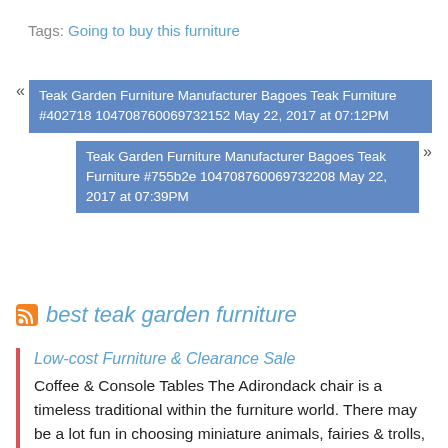Tags: Going to buy this furniture
« Teak Garden Furniture Manufacturer Bagoes Teak Furniture #402718 104708760069732152 May 22, 2017 at 07:12PM
Teak Garden Furniture Manufacturer Bagoes Teak Furniture #755b2e 104708760069732208 May 22, 2017 at 07:39PM »
best teak garden furniture
Low-cost Furniture & Clearance Sale
Coffee & Console Tables The Adirondack chair is a timeless traditional within the furniture world. There may be a lot fun in choosing miniature animals, fairies & trolls, tiny houses and instruments, etc., etc.,and so on., however don't forget to mulch and fertilize to maintain the garden wholesome and moist. Immune to